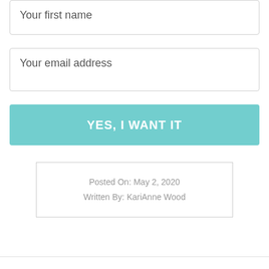Your first name
Your email address
YES, I WANT IT
Posted On: May 2, 2020
Written By: KariAnne Wood